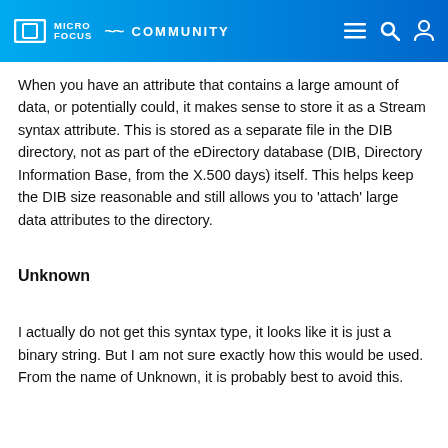MICRO FOCUS COMMUNITY
When you have an attribute that contains a large amount of data, or potentially could, it makes sense to store it as a Stream syntax attribute. This is stored as a separate file in the DIB directory, not as part of the eDirectory database (DIB, Directory Information Base, from the X.500 days) itself. This helps keep the DIB size reasonable and still allows you to 'attach' large data attributes to the directory.
Unknown
I actually do not get this syntax type, it looks like it is just a binary string. But I am not sure exactly how this would be used. From the name of Unknown, it is probably best to avoid this.